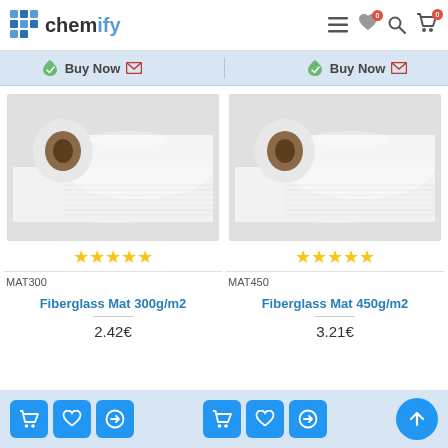chemify
Buy Now  Buy Now
[Figure (photo): Roll of white fiberglass mat 300g/m2]
[Figure (photo): Roll of white fiberglass mat 450g/m2]
MAT300
MAT450
Fiberglass Mat 300g/m2
Fiberglass Mat 450g/m2
2.42€
3.21€